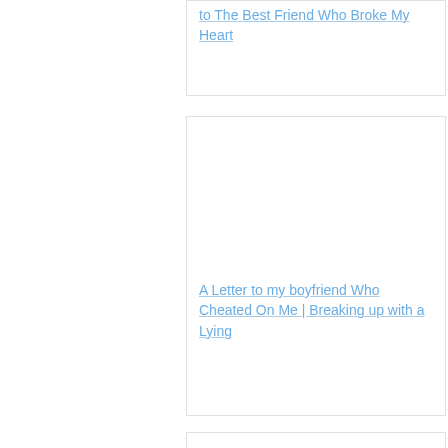to The Best Friend Who Broke My Heart
[Figure (other): Card with image area (blank/white) for an article about a letter to a boyfriend who cheated]
A Letter to my boyfriend Who Cheated On Me | Breaking up with a Lying
[Figure (other): Card with image area (blank/white) partially visible at bottom]